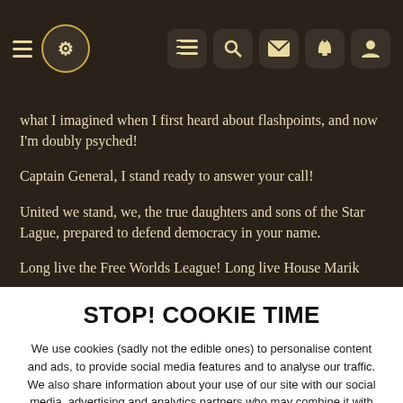Navigation header with logo and icons
what I imagined when I first heard about flashpoints, and now I'm doubly psyched!
Captain General, I stand ready to answer your call!
United we stand, we, the true daughters and sons of the Star Lague, prepared to defend democracy in your name.
Long live the Free Worlds League! Long live House Marik
STOP! COOKIE TIME
We use cookies (sadly not the edible ones) to personalise content and ads, to provide social media features and to analyse our traffic. We also share information about your use of our site with our social media, advertising and analytics partners who may combine it with other information that you've provided to them or that they've collected from your use of their services. You consent to our cookies if you continue to use this website.
✓ ACCEPT